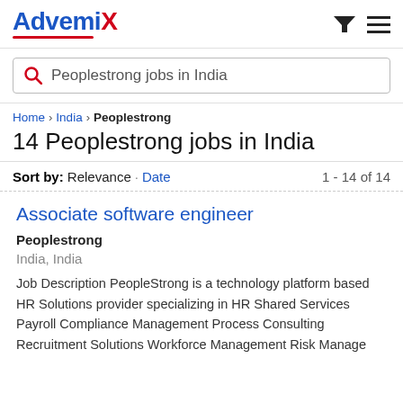[Figure (logo): Advemix logo in blue with red X and red underline arc]
Peoplestrong jobs in India
Home › India › Peoplestrong
14 Peoplestrong jobs in India
Sort by: Relevance · Date    1 - 14 of 14
Associate software engineer
Peoplestrong
India, India
Job Description PeopleStrong is a technology platform based HR Solutions provider specializing in HR Shared Services Payroll Compliance Management Process Consulting Recruitment Solutions Workforce Management Risk Manage